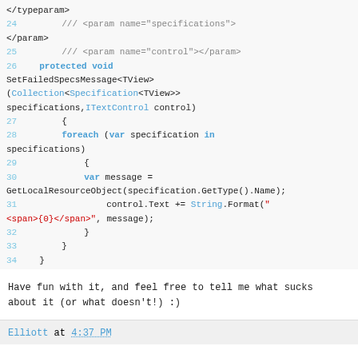Code snippet showing SetFailedSpecsMessage method lines 24-34
Have fun with it, and feel free to tell me what sucks about it (or what doesn't!) :)
Elliott at 4:37 PM